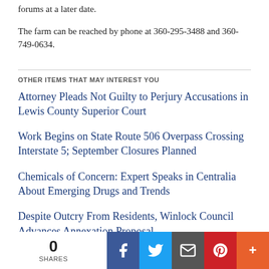forums at a later date.
The farm can be reached by phone at 360-295-3488 and 360-749-0634.
OTHER ITEMS THAT MAY INTEREST YOU
Attorney Pleads Not Guilty to Perjury Accusations in Lewis County Superior Court
Work Begins on State Route 506 Overpass Crossing Interstate 5; September Closures Planned
Chemicals of Concern: Expert Speaks in Centralia About Emerging Drugs and Trends
Despite Outcry From Residents, Winlock Council Advances Annexation Proposal
0 SHARES | Facebook | Twitter | Email | Pinterest | More